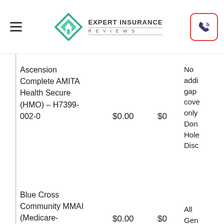[Figure (logo): Expert Insurance Reviews logo with diamond/house icon in teal/green, hamburger menu icon, and phone icon button with red border]
| Plan | Price 1 | Price 2 | Coverage Notes |
| --- | --- | --- | --- |
| Ascension Complete AMITA Health Secure (HMO) – H7399-002-0 | $0.00 | $0 | No addi gap cove only Don Hole Disc |
| Blue Cross Community MMAI (Medicare- | $0.00 | $0 | All Gen |